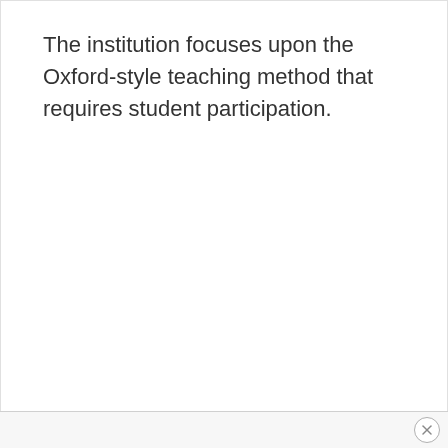The institution focuses upon the Oxford-style teaching method that requires student participation.